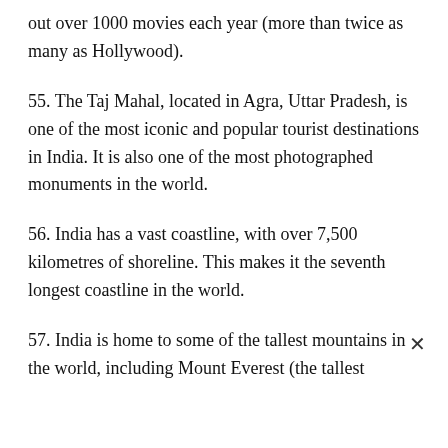out over 1000 movies each year (more than twice as many as Hollywood).
55. The Taj Mahal, located in Agra, Uttar Pradesh, is one of the most iconic and popular tourist destinations in India. It is also one of the most photographed monuments in the world.
56. India has a vast coastline, with over 7,500 kilometres of shoreline. This makes it the seventh longest coastline in the world.
57. India is home to some of the tallest mountains in the world, including Mount Everest (the tallest